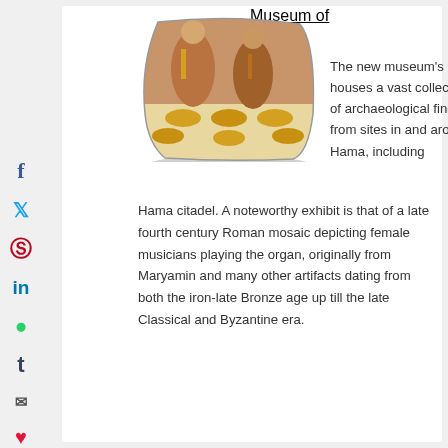Museum of Hama
[Figure (photo): A Roman mosaic depicting two female figures standing behind a table with golden bowls, wearing ornate robes.]
The new museum's houses a vast collection of archaeological finds from sites in and around Hama, including Hama citadel. A noteworthy exhibit is that of a late fourth century Roman mosaic depicting female musicians playing the organ, originally from Maryamin and many other artifacts dating from both the iron-late Bronze age up till the late Classical and Byzantine era.